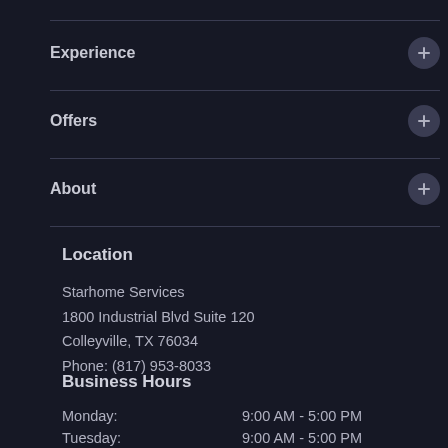Experience
Offers
About
Location
Starhome Services
1800 Industrial Blvd Suite 120
Colleyville, TX 76034
Phone: (817) 953-8033
Business Hours
Monday:  9:00 AM - 5:00 PM
Tuesday:  9:00 AM - 5:00 PM